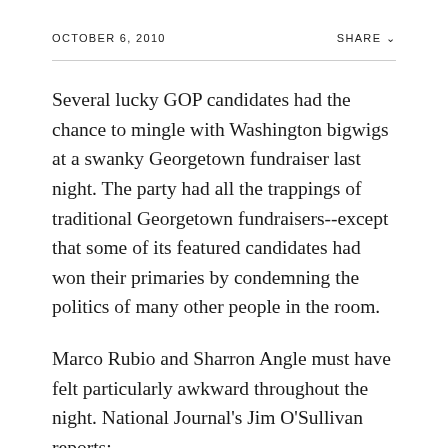OCTOBER 6, 2010
SHARE
Several lucky GOP candidates had the chance to mingle with Washington bigwigs at a swanky Georgetown fundraiser last night. The party had all the trappings of traditional Georgetown fundraisers--except that some of its featured candidates had won their primaries by condemning the politics of many other people in the room.
Marco Rubio and Sharron Angle must have felt particularly awkward throughout the night. National Journal's Jim O'Sullivan reports: